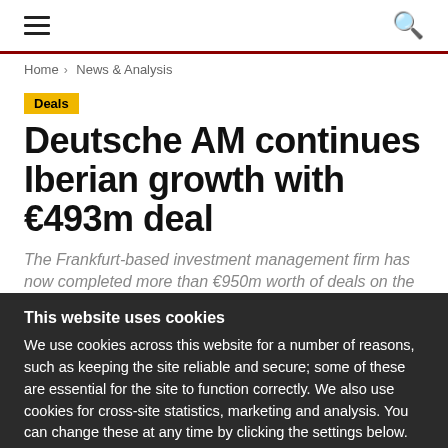≡  🔍
Home › News & Analysis
Deals
Deutsche AM continues Iberian growth with €493m deal
The Frankfurt-based investment management firm has now completed more than €950m worth of deals on the
This website uses cookies
We use cookies across this website for a number of reasons, such as keeping the site reliable and secure; some of these are essential for the site to function correctly. We also use cookies for cross-site statistics, marketing and analysis. You can change these at any time by clicking the settings below.